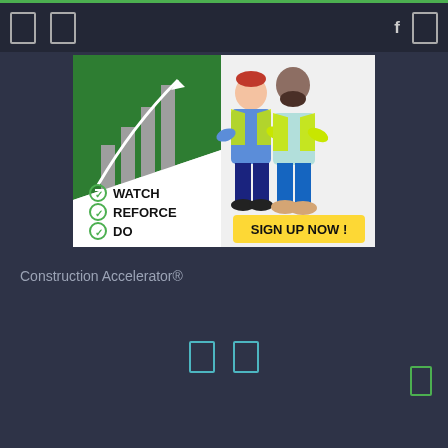[Figure (illustration): An advertisement banner for Construction Accelerator showing a bar chart with growth arrow on green background, two cartoon construction workers in safety vests, a checklist with WATCH, REFORCE, DO and a yellow SIGN UP NOW! button]
Construction Accelerator®